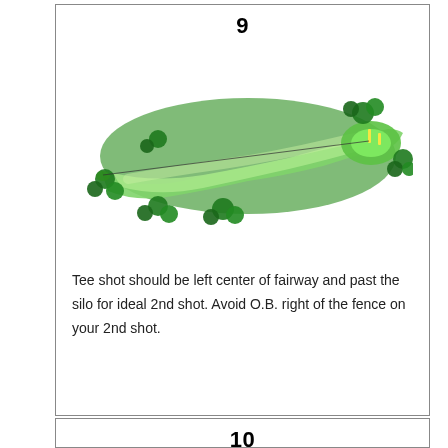9
[Figure (illustration): Top-down golf hole diagram for hole 9. A long, winding fairway extending left to right with light green fairway, darker green rough, and trees (dark green clusters) scattered on both sides. The green is at the right end with flag markers. A line indicates the shot path from the tee on the left to the green on the right.]
Tee shot should be left center of fairway and past the silo for ideal 2nd shot. Avoid O.B. right of the fence on your 2nd shot.
10
[Figure (illustration): Top-down golf hole diagram for hole 10. A shorter, more compact hole with the fairway running left to right. The green is at the right with flag markers. Dark green tree clusters surround the hole on all sides. A diagonal line shows the shot path from tee to green.]